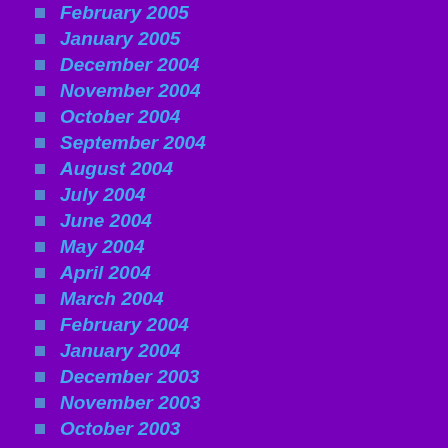February 2005
January 2005
December 2004
November 2004
October 2004
September 2004
August 2004
July 2004
June 2004
May 2004
April 2004
March 2004
February 2004
January 2004
December 2003
November 2003
October 2003
September 2003
August 2003
META